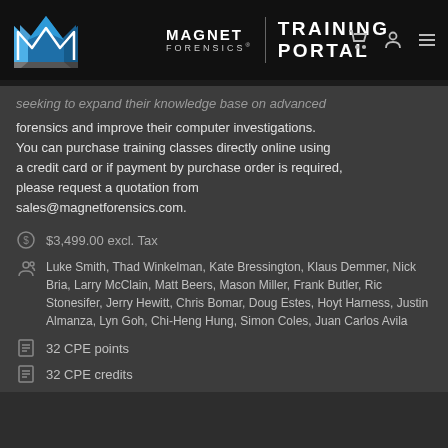MAGNET FORENSICS | TRAINING PORTAL
seeking to expand their knowledge base on advanced forensics and improve their computer investigations. You can purchase training classes directly online using a credit card or if payment by purchase order is required, please request a quotation from sales@magnetforensics.com.
$3,499.00 excl. Tax
Luke Smith, Thad Winkelman, Kate Bressington, Klaus Demmer, Nick Bria, Larry McClain, Matt Beers, Mason Miller, Frank Butler, Ric Stonesifer, Jerry Hewitt, Chris Bomar, Doug Estes, Hoyt Harness, Justin Almanza, Lyn Goh, Chi-Heng Hung, Simon Coles, Juan Carlos Avila
32 CPE points
32 CPE credits